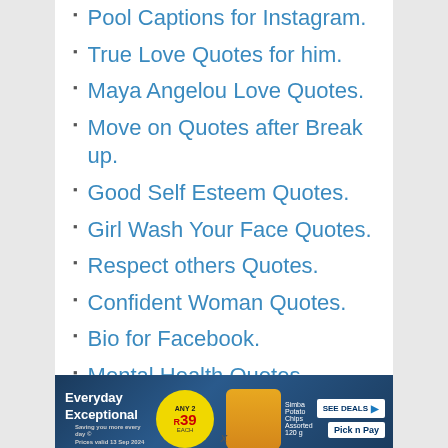Pool Captions for Instagram.
True Love Quotes for him.
Maya Angelou Love Quotes.
Move on Quotes after Break up.
Good Self Esteem Quotes.
Girl Wash Your Face Quotes.
Respect others Quotes.
Confident Woman Quotes.
Bio for Facebook.
Mental Health Quotes.
Road Trip Quotes.
[Figure (advertisement): Pick n Pay advertisement banner: Everyday Exceptional - Any 2 R39 - Simba Potato Chips Assorted 120g - SEE DEALS button with Pick n Pay logo]